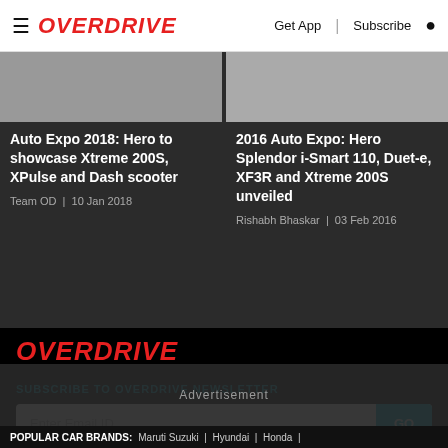≡ OVERDRIVE  Get App | Subscribe 🔍
Auto Expo 2018: Hero to showcase Xtreme 200S, XPulse and Dash scooter
Team OD | 10 Jan 2018
2016 Auto Expo: Hero Splendor i-Smart 110, Duet-e, XF3R and Xtreme 200S unveiled
Rishabh Bhaskar | 03 Feb 2016
[Figure (logo): OVERDRIVE logo in red italic bold text on black background]
SUBSCRIBE TO OVERDRIVE NEWSLETTER
Enter Email ID  GO
Advertisement
POPULAR CAR BRANDS:  Maruti Suzuki | Hyundai | Honda |